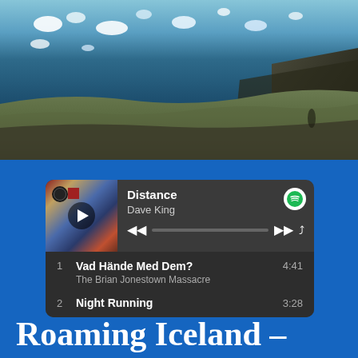[Figure (photo): Aerial or wide-angle photograph of an Icelandic glacial lagoon with icebergs floating in dark blue water, rocky and grassy moorland in the foreground, and dark cliffs on the right side.]
[Figure (screenshot): Spotify music player widget showing 'Distance' by Dave King currently playing, with album art, playback controls, progress bar, and a track list showing: 1. Vad Hände Med Dem? by The Brian Jonestown Massacre (4:41), 2. Night Running (3:28).]
Roaming Iceland –